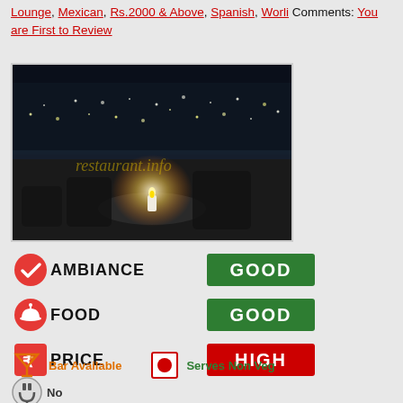Lounge, Mexican, Rs.2000 & Above, Spanish, Worli Comments: You are First to Review
[Figure (photo): Night-time photo of a restaurant rooftop lounge with city lights in background, a glowing candle on a round table, dark chairs, watermark 'restaurant.info']
| Category | Rating |
| --- | --- |
| AMBIANCE | GOOD |
| FOOD | GOOD |
| PRICE | HIGH |
Bar Available   Serves Non Veg
No